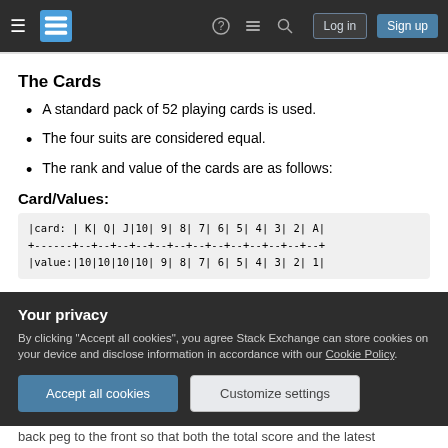Stack Exchange navigation bar with Log in and Sign up buttons
The Cards
A standard pack of 52 playing cards is used.
The four suits are considered equal.
The rank and value of the cards are as follows:
Card/Values:
| card: | K | Q | J | 10 | 9 | 8 | 7 | 6 | 5 | 4 | 3 | 2 | A |
| --- | --- | --- | --- | --- | --- | --- | --- | --- | --- | --- | --- | --- | --- |
| value: | 10 | 10 | 10 | 10 | 9 | 8 | 7 | 6 | 5 | 4 | 3 | 2 | 1 |
Your privacy
By clicking "Accept all cookies", you agree Stack Exchange can store cookies on your device and disclose information in accordance with our Cookie Policy.
Accept all cookies   Customize settings
back peg to the front so that both the total score and the latest